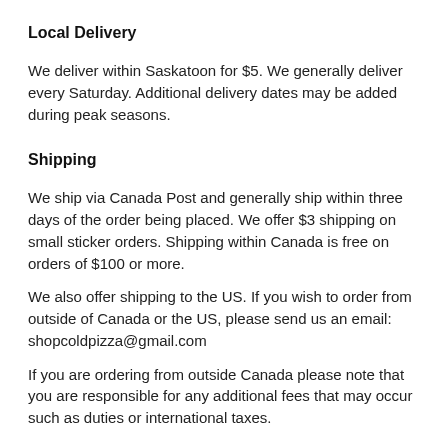Local Delivery
We deliver within Saskatoon for $5. We generally deliver every Saturday. Additional delivery dates may be added during peak seasons.
Shipping
We ship via Canada Post and generally ship within three days of the order being placed. We offer $3 shipping on small sticker orders. Shipping within Canada is free on orders of $100 or more.
We also offer shipping to the US. If you wish to order from outside of Canada or the US, please send us an email: shopcoldpizza@gmail.com
If you are ordering from outside Canada please note that you are responsible for any additional fees that may occur such as duties or international taxes.